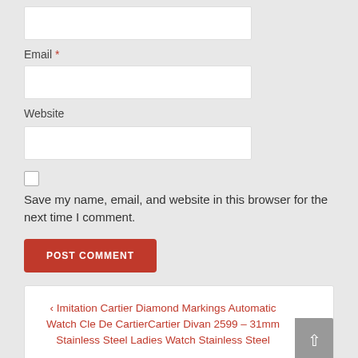Email *
[input field]
Website
[input field]
Save my name, email, and website in this browser for the next time I comment.
POST COMMENT
‹ Imitation Cartier Diamond Markings Automatic Watch Cle De CartierCartier Divan 2599 – 31mm Stainless Steel Ladies Watch Stainless Steel
Replica Audemars Piguet ROYAL OAK 26417BC [50 LTD EDITION]